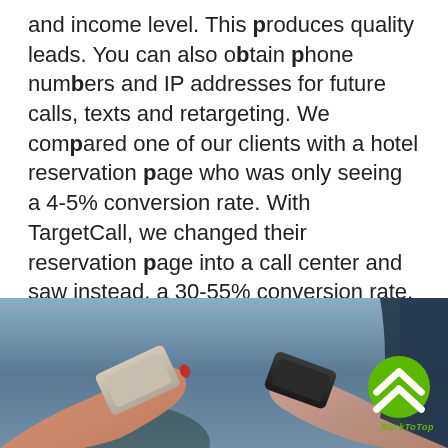and income level. This produces quality leads. You can also obtain phone numbers and IP addresses for future calls, texts and retargeting. We compared one of our clients with a hotel reservation page who was only seeing a 4-5% conversion rate. With TargetCall, we changed their reservation page into a call center and saw instead, a 30-55% conversion rate. Quite the improvement!
[Figure (other): Blue rounded rectangle button with white bold uppercase text reading READ MORE]
[Figure (photo): Photo of hands holding smartphones, dark background with blue tones. A green circular back-to-top button with chevron arrows is in the bottom-right corner with italic BackToTop label.]